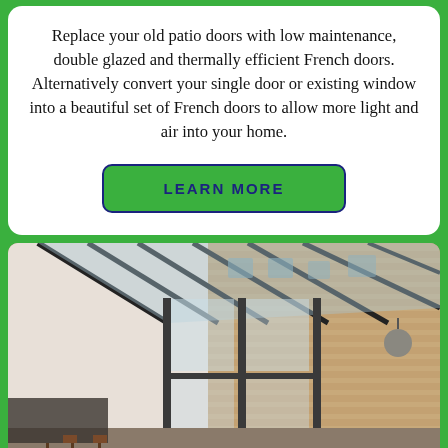Replace your old patio doors with low maintenance, double glazed and thermally efficient French doors. Alternatively convert your single door or existing window into a beautiful set of French doors to allow more light and air into your home.
LEARN MORE
[Figure (photo): Interior photo of a modern kitchen/dining extension with large aluminium-framed French doors and a glass roof lantern, opening onto a courtyard with exposed brick walls and a Victorian building visible beyond.]